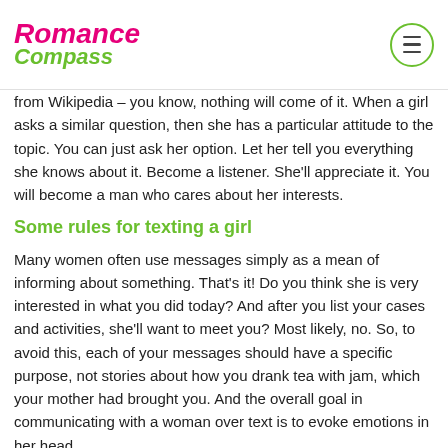Romance Compass
from Wikipedia – you know, nothing will come of it. When a girl asks a similar question, then she has a particular attitude to the topic. You can just ask her option. Let her tell you everything she knows about it. Become a listener. She'll appreciate it. You will become a man who cares about her interests.
Some rules for texting a girl
Many women often use messages simply as a mean of informing about something. That's it! Do you think she is very interested in what you did today? And after you list your cases and activities, she'll want to meet you? Most likely, no. So, to avoid this, each of your messages should have a specific purpose, not stories about how you drank tea with jam, which your mother had brought you. And the overall goal in communicating with a woman over text is to evoke emotions in her head.
Don't flood her with texts...